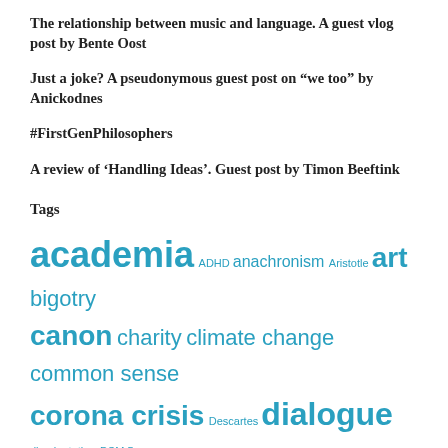The relationship between music and language. A guest vlog post by Bente Oost
Just a joke? A pseudonymous guest post on “we too” by Anickodnes
#FirstGenPhilosophers
A review of ‘Handling Ideas’. Guest post by Timon Beeftink
Tags
academia ADHD anachronism Aristotle art bigotry canon charity climate change common sense corona crisis Descartes dialogue disorientation DSM 5